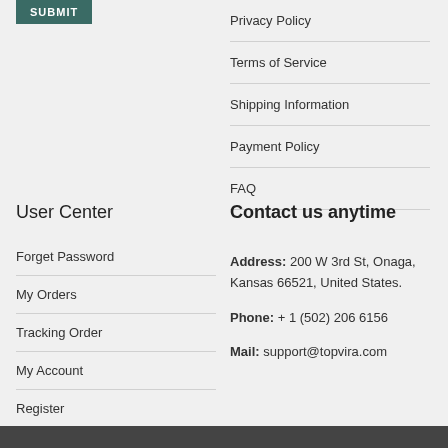SUBMIT
Privacy Policy
Terms of Service
Shipping Information
Payment Policy
FAQ
User Center
Forget Password
My Orders
Tracking Order
My Account
Register
Contact us anytime
Address: 200 W 3rd St, Onaga, Kansas 66521, United States.
Phone: + 1 (502) 206 6156
Mail: support@topvira.com